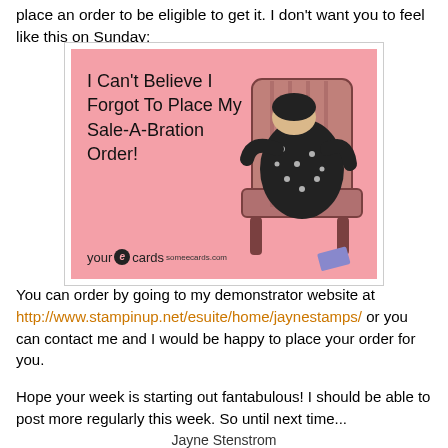place an order to be eligible to get it.  I don't want you to feel like this on Sunday:
[Figure (illustration): A pink ecard image from someecards.com showing text 'I Can't Believe I Forgot To Place My Sale-A-Bration Order!' with an illustration of a woman slumped over a chair in despair. The yourEcards / someecards.com logo appears at the bottom left.]
You can order by going to my demonstrator website at http://www.stampinup.net/esuite/home/jaynestamps/ or you can contact me and I would be happy to place your order for you.
Hope your week is starting out fantabulous!  I should be able to post more regularly this week.  So until next time...
Jayne Stenstrom